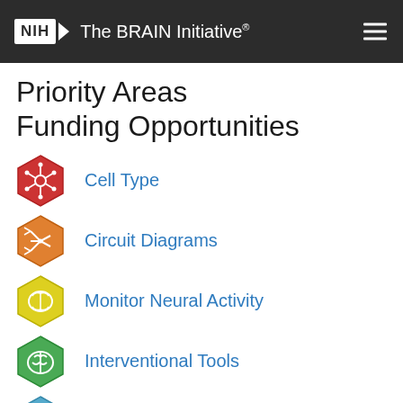NIH — The BRAIN Initiative®
Priority Areas Funding Opportunities
Cell Type
Circuit Diagrams
Monitor Neural Activity
Interventional Tools
Theory & Data Analysis Tools
Human Neuroscience